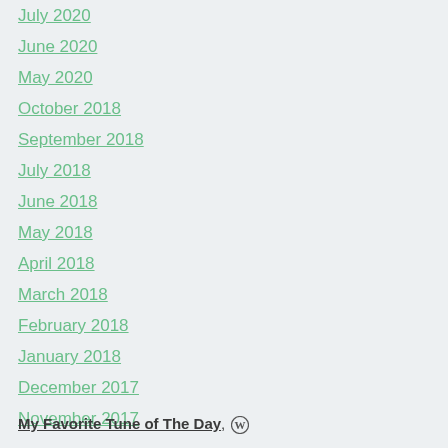July 2020
June 2020
May 2020
October 2018
September 2018
July 2018
June 2018
May 2018
April 2018
March 2018
February 2018
January 2018
December 2017
November 2017
My Favorite Tune of The Day, [WordPress icon]